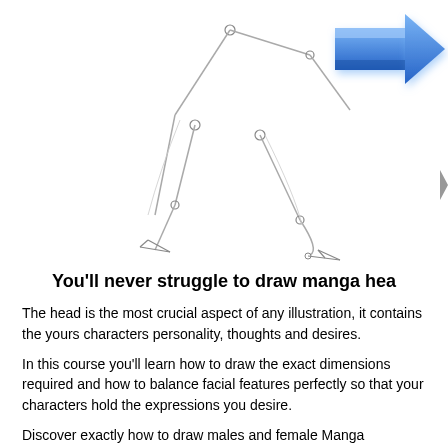[Figure (illustration): A sketch of a human figure in a walking pose with stick-like joints and lines, shown from the waist down with legs mid-stride. A blue 3D arrow pointing right is visible in the upper right corner, and a partial arrow element on the right edge.]
You'll never struggle to draw manga hea
The head is the most crucial aspect of any illustration, it contains the yours characters personality, thoughts and desires.
In this course you'll learn how to draw the exact dimensions required and how to balance facial features perfectly so that your characters hold the expressions you desire.
Discover exactly how to draw males and female Manga characters...